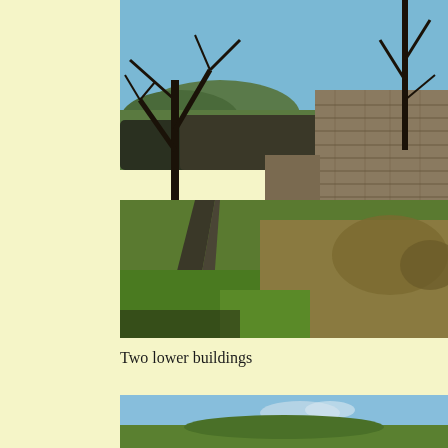[Figure (photo): Outdoor rural scene showing a stone wall ruin surrounded by bare winter trees, with a narrow path/road in the foreground, grassland, and hills visible in the background under a clear blue sky.]
Two lower buildings
[Figure (photo): Partial view of a second outdoor photo showing blue sky and top of green landscape, cropped at bottom of page.]